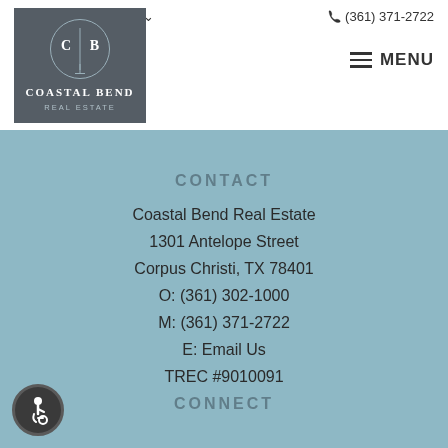Login / Register  (361) 371-2722
[Figure (logo): Coastal Bend Real Estate logo: dark grey square with circular emblem showing C|B letters, anchor motif, and company name]
MENU
CONTACT
Coastal Bend Real Estate
1301 Antelope Street
Corpus Christi, TX 78401
O: (361) 302-1000
M: (361) 371-2722
E: Email Us
TREC #9010091
CONNECT